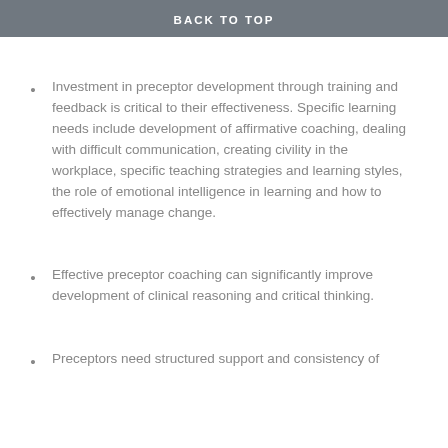BACK TO TOP
Investment in preceptor development through training and feedback is critical to their effectiveness. Specific learning needs include development of affirmative coaching, dealing with difficult communication, creating civility in the workplace, specific teaching strategies and learning styles, the role of emotional intelligence in learning and how to effectively manage change.
Effective preceptor coaching can significantly improve development of clinical reasoning and critical thinking.
Preceptors need structured support and consistency of